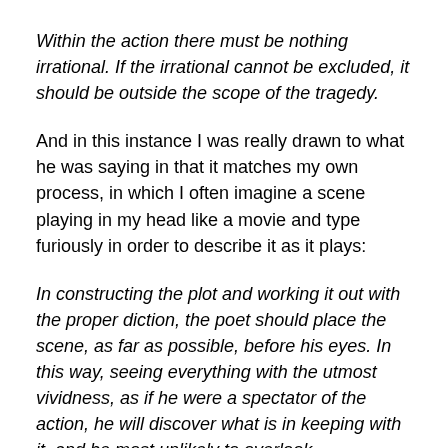Within the action there must be nothing irrational. If the irrational cannot be excluded, it should be outside the scope of the tragedy.
And in this instance I was really drawn to what he was saying in that it matches my own process, in which I often imagine a scene playing in my head like a movie and type furiously in order to describe it as it plays:
In constructing the plot and working it out with the proper diction, the poet should place the scene, as far as possible, before his eyes. In this way, seeing everything with the utmost vividness, as if he were a spectator of the action, he will discover what is in keeping with it, and be most unlikely to overlook inconsistencies.
Winding through some of his now archaic assumptions,